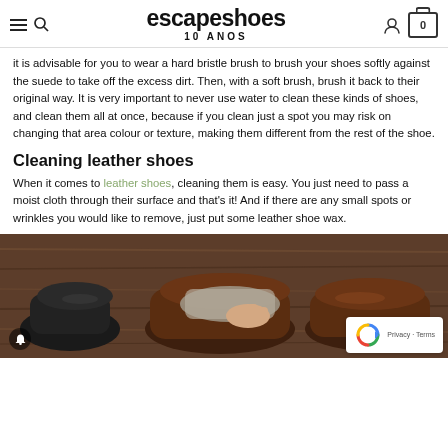escapeshoes 10 ANOS
it is advisable for you to wear a hard bristle brush to brush your shoes softly against the suede to take off the excess dirt. Then, with a soft brush, brush it back to their original way. It is very important to never use water to clean these kinds of shoes, and clean them all at once, because if you clean just a spot you may risk on changing that area colour or texture, making them different from the rest of the shoe.
Cleaning leather shoes
When it comes to leather shoes, cleaning them is easy. You just need to pass a moist cloth through their surface and that's it! And if there are any small spots or wrinkles you would like to remove, just put some leather shoe wax.
[Figure (photo): A hand cleaning dark brown leather shoes on a wooden surface, with a cloth/brush being used on one shoe]